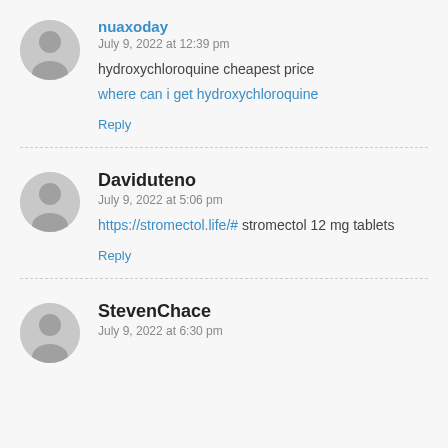nuaxoday
July 9, 2022 at 12:39 pm
hydroxychloroquine cheapest price
where can i get hydroxychloroquine
Reply
Daviduteno
July 9, 2022 at 5:06 pm
https://stromectol.life/# stromectol 12 mg tablets
Reply
StevenChace
July 9, 2022 at 6:30 pm